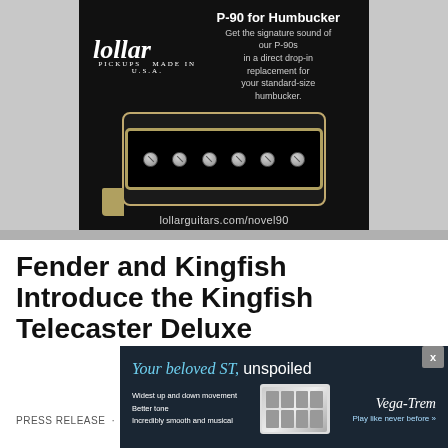[Figure (advertisement): Lollar Pickups advertisement for P-90 for Humbucker. Black background with Lollar Pickups logo top left, headline 'P-90 for Humbucker', subtitle 'Get the signature sound of our P-90s in a direct drop-in replacement for your standard-size humbucker.', photo of a humbucker-sized pickup, and URL lollarguitars.com/novel90]
Fender and Kingfish Introduce the Kingfish Telecaster Deluxe
PRESS RELEASE · 5, 2022
[Figure (advertisement): Vega-Trem advertisement overlay. Dark navy background. Headline 'Your beloved ST, unspoiled' in italic teal and white text. Bullet points: 'Widest up and down movement', 'Better tone', 'Incredibly smooth and musical'. Center image of a bridge/tremolo unit. Right side shows 'Vega-Trem' logo and 'Play like never before >>' link.]